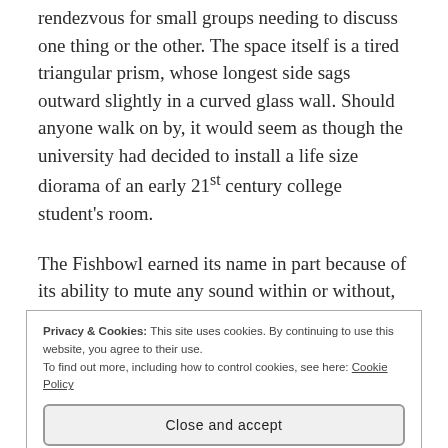rendezvous for small groups needing to discuss one thing or the other. The space itself is a tired triangular prism, whose longest side sags outward slightly in a curved glass wall. Should anyone walk on by, it would seem as though the university had decided to install a life size diorama of an early 21st century college student's room.
The Fishbowl earned its name in part because of its ability to mute any sound within or without, depending on where one would stand. Looking in, it is near impossible to hear what those inside are discussing. Looking out, witnessing crowds of people pass on by in silence lends
Privacy & Cookies: This site uses cookies. By continuing to use this website, you agree to their use.
To find out more, including how to control cookies, see here: Cookie Policy
Close and accept